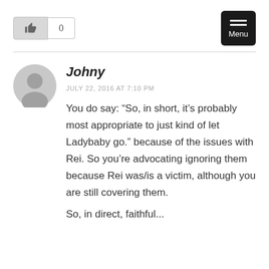[Figure (other): Like button with thumbs up icon and count box showing 0, plus a black Menu button in the top right]
Johny
JULY 22, 2016 AT 7:10 PM
You do say: “So, in short, it’s probably most appropriate to just kind of let Ladybaby go.” because of the issues with Rei. So you’re advocating ignoring them because Rei was/is a victim, although you are still covering them.
So, in direct, faithful...